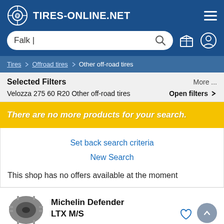[Figure (screenshot): Website header with logo icon, site title TIRES-ONLINE.NET, hamburger menu, search box with 'Falk' text, and user/cart icons]
[Figure (screenshot): Breadcrumb navigation: Tires > Offroad tires > Other off-road tires]
Selected Filters
More ...
Velozza 275 60 R20 Other off-road tires
Open filters
There are no more products for your search.
Set back search criteria
New Search
This shop has no offers available at the moment
Michelin Defender
LTX M/S